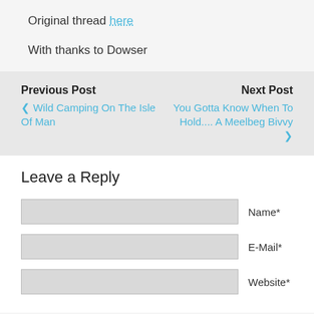Original thread here
With thanks to Dowser
Previous Post
‹ Wild Camping On The Isle Of Man
Next Post
You Gotta Know When To Hold.... A Meelbeg Bivvy ›
Leave a Reply
Name*
E-Mail*
Website*